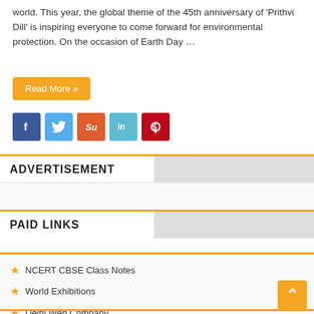world. This year, the global theme of the 45th anniversary of 'Prithvi Dill' is inspiring everyone to come forward for environmental protection. On the occasion of Earth Day …
Read More »
[Figure (infographic): Social share buttons row: Facebook (blue), Twitter (light blue), StumbleUpon (orange-red), LinkedIn (light blue), Pinterest (red)]
ADVERTISEMENT
PAID LINKS
NCERT CBSE Class Notes
World Exhibitions
Delhi Web Company
Textile Industry Database
Indian Travel Places: Food, Travel, Tourism Business Events